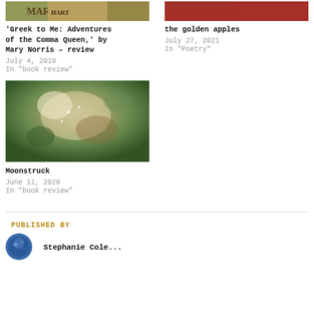[Figure (photo): Book cover thumbnail for 'Greek to Me: Adventures of the Comma Queen' - partial view with decorative text]
[Figure (photo): Red-toned photo thumbnail, partially visible]
'Greek to Me: Adventures of the Comma Queen,' by Mary Norris – review
July 4, 2019
In "book review"
the golden apples
July 27, 2021
In "Poetry"
[Figure (photo): Fairy painting illustration - classical artwork showing fairies and figures in a forest setting]
Moonstruck
June 11, 2020
In "book review"
PUBLISHED BY
[Figure (photo): Author avatar - circular portrait photo with blue tones]
Stephanie Cole...